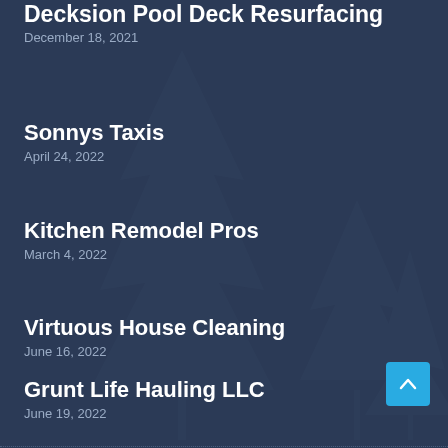Decksion Pool Deck Resurfacing
December 18, 2021
Sonnys Taxis
April 24, 2022
Kitchen Remodel Pros
March 4, 2022
Virtuous House Cleaning
June 16, 2022
Grunt Life Hauling LLC
June 19, 2022